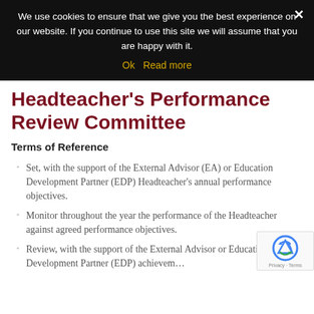We use cookies to ensure that we give you the best experience on our website. If you continue to use this site we will assume that you are happy with it.
Ok   Read more
Headteacher's Performance Review Committee
Terms of Reference
Set, with the support of the External Advisor (EA) or Education Development Partner (EDP) Headteacher's annual performance objectives.
Monitor throughout the year the performance of the Headteacher against agreed performance objectives.
Review, with the support of the External Advisor or Education Development Partner (EDP) achievements…